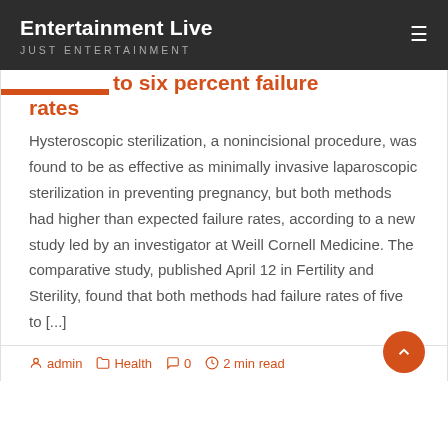Entertainment Live
JUST ENTERTAINMENT
to six percent failure rates
Hysteroscopic sterilization, a nonincisional procedure, was found to be as effective as minimally invasive laparoscopic sterilization in preventing pregnancy, but both methods had higher than expected failure rates, according to a new study led by an investigator at Weill Cornell Medicine. The comparative study, published April 12 in Fertility and Sterility, found that both methods had failure rates of five to [...]
admin  Health  0  2 min read